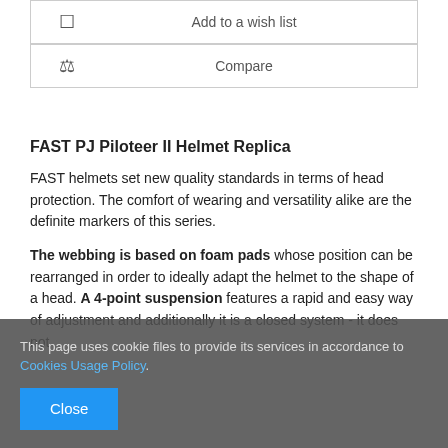| ☐ | Add to a wish list |
| ⚖ | Compare |
FAST PJ Piloteer II Helmet Replica
FAST helmets set new quality standards in terms of head protection. The comfort of wearing and versatility alike are the definite markers of this series.
The webbing is based on foam pads whose position can be rearranged in order to ideally adapt the helmet to the shape of a head. A 4-point suspension features a rapid and easy way of adjustment and additionally it is a closed system - it does not
This page uses cookie files to provide its services in accordance to Cookies Usage Policy.